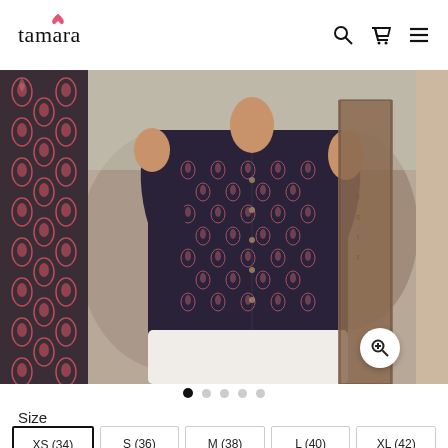tamara — navigation with search, cart, and menu icons
[Figure (photo): Product photo of a woman wearing a dark navy/maroon paisley print button-up shirt/kurti, shown from torso level. Left side shows a fabric swatch strip with red and white paisley pattern on dark background. Center shows the model wearing the garment outdoors near stone architecture. Right edge partially shows another image.]
● ○ ○ ○ ○ (image carousel dots, first active)
Size
| XS (34) | S (36) | M (38) | L (40) | XL (42) |
| --- | --- | --- | --- | --- |